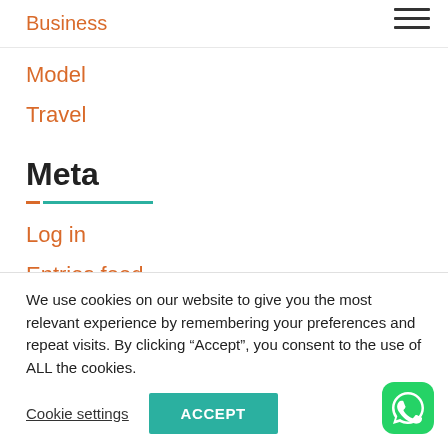Business
Model
Travel
Meta
Log in
Entries feed
We use cookies on our website to give you the most relevant experience by remembering your preferences and repeat visits. By clicking “Accept”, you consent to the use of ALL the cookies.
Cookie settings
ACCEPT